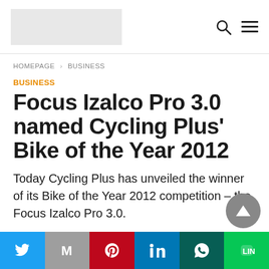[Logo] [Search] [Menu]
HOMEPAGE › BUSINESS
BUSINESS
Focus Izalco Pro 3.0 named Cycling Plus' Bike of the Year 2012
Today Cycling Plus has unveiled the winner of its Bike of the Year 2012 competition – the Focus Izalco Pro 3.0.